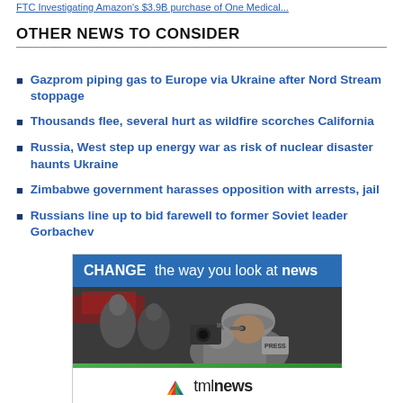FTC Investigating Amazon's $3.9B purchase of One Medical...
OTHER NEWS TO CONSIDER
Gazprom piping gas to Europe via Ukraine after Nord Stream stoppage
Thousands flee, several hurt as wildfire scorches California
Russia, West step up energy war as risk of nuclear disaster haunts Ukraine
Zimbabwe government harasses opposition with arrests, jail
Russians line up to bid farewell to former Soviet leader Gorbachev
[Figure (illustration): Advertisement for tmlnews showing a press journalist in helmet and vest with camera, with the slogan 'CHANGE the way you look at news' and the tmlnews logo with tagline 'trusted mideast news']